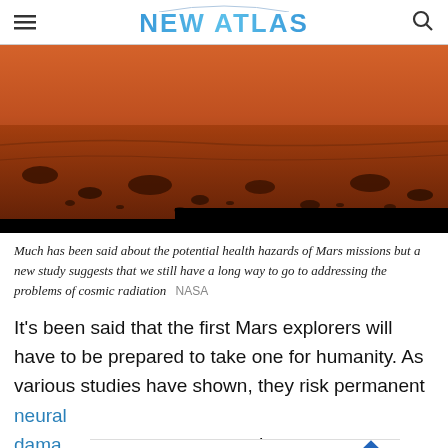NEW ATLAS
[Figure (photo): Panoramic photo of the Martian surface showing reddish-brown rocky terrain with scattered stones, taken by a NASA rover. Black bars visible at bottom of image.]
Much has been said about the potential health hazards of Mars missions but a new study suggests that we still have a long way to go to addressing the problems of cosmic radiation  NASA
It's been said that the first Mars explorers will have to be prepared to take one for humanity. As various studies have shown, they risk permanent neural dama[ge] and Alzhei[mer's]